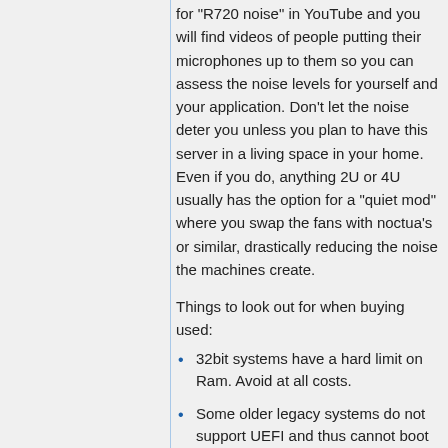for "R720 noise" in YouTube and you will find videos of people putting their microphones up to them so you can assess the noise levels for yourself and your application. Don't let the noise deter you unless you plan to have this server in a living space in your home. Even if you do, anything 2U or 4U usually has the option for a "quiet mod" where you swap the fans with noctua's or similar, drastically reducing the noise the machines create.
Things to look out for when buying used:
32bit systems have a hard limit on Ram. Avoid at all costs.
Some older legacy systems do not support UEFI and thus cannot boot UEFI OS's.
Older hardware specs may become